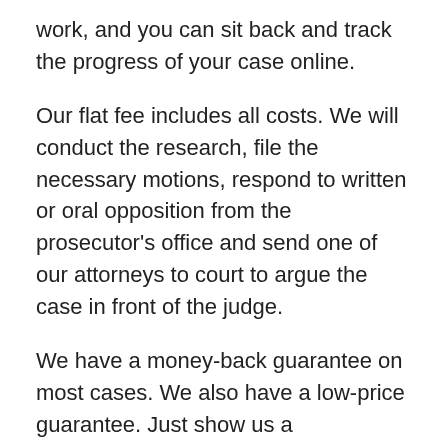work, and you can sit back and track the progress of your case online.
Our flat fee includes all costs. We will conduct the research, file the necessary motions, respond to written or oral opposition from the prosecutor's office and send one of our attorneys to court to argue the case in front of the judge.
We have a money-back guarantee on most cases. We also have a low-price guarantee. Just show us a competitor's quote or ad and we will match it.
Our exclusive Expedited Record Clearance Update service allows us to have the leading background check companies reflect changes to your criminal record in less than 14 days, instead of months and even years like our competitors.